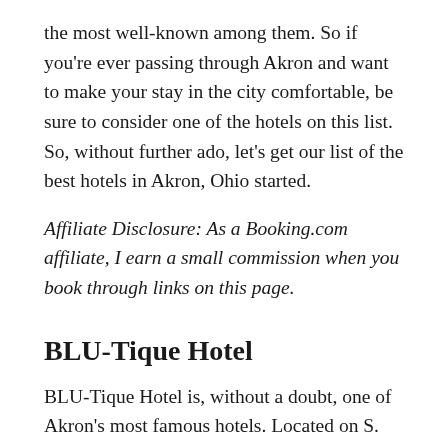the most well-known among them. So if you're ever passing through Akron and want to make your stay in the city comfortable, be sure to consider one of the hotels on this list. So, without further ado, let's get our list of the best hotels in Akron, Ohio started.
Affiliate Disclosure: As a Booking.com affiliate, I earn a small commission when you book through links on this page.
BLU-Tique Hotel
BLU-Tique Hotel is, without a doubt, one of Akron's most famous hotels. Located on S. Main Street, the hotel opened for overnight stays as recently as January, 2020, and has a slew of amenities that are sure to keep guests entertained. The BLU-Tique offers an in-house restaurant cum bar - The